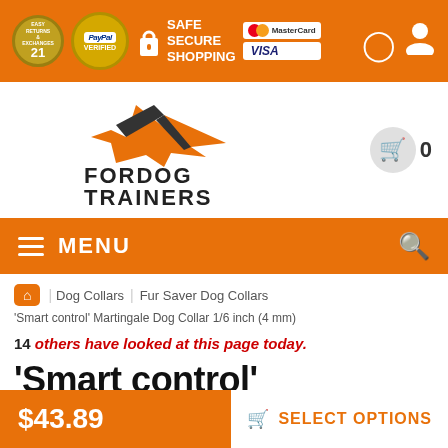Easy Returns & Exchanges | PayPal Verified | Safe Secure Shopping | MasterCard | Visa
[Figure (logo): ForDog Trainers logo with stylized dog silhouette in orange and dark grey, bold text FORDOG TRAINERS]
0 (cart)
≡ MENU
Breadcrumb: Home > Dog Collars > Fur Saver Dog Collars > 'Smart control' Martingale Dog Collar 1/6 inch (4 mm)
14 others have looked at this page today.
'Smart control' Martingale Dog Collar 1/6 inch (4 mm)
$43.89
SELECT OPTIONS